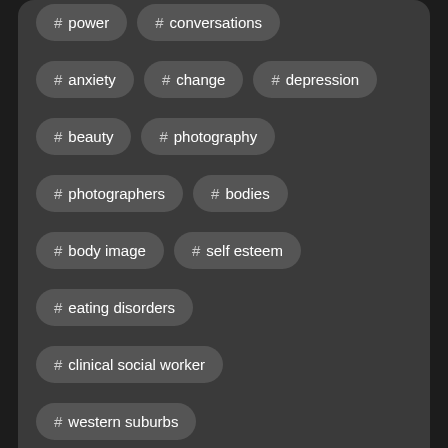# power
# conversations
# anxiety
# change
# depression
# beauty
# photography
# photographers
# bodies
# body image
# self esteem
# eating disorders
# clinical social worker
# western suburbs
Fasting for Women & Nutritional Sovereignty |